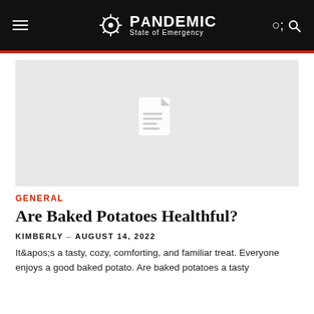PANDEMIC State of Emergency
[Figure (illustration): Gray placeholder image with a document icon in the center]
GENERAL
Are Baked Potatoes Healthful?
KIMBERLY – AUGUST 14, 2022
It&apos;s a tasty, cozy, comforting, and familiar treat. Everyone enjoys a good baked potato. Are baked potatoes a tasty